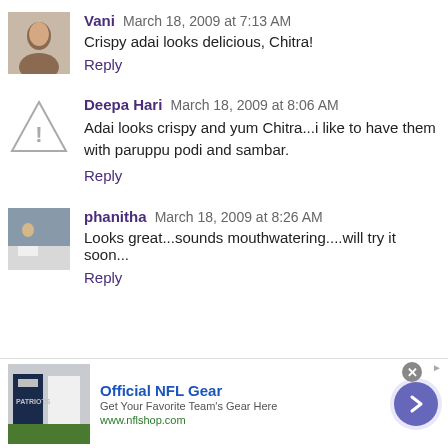[Figure (photo): Avatar photo of Vani, a woman with dark hair]
Vani March 18, 2009 at 7:13 AM
Crispy adai looks delicious, Chitra!
Reply
[Figure (illustration): Triangle warning icon placeholder avatar for Deepa Hari]
Deepa Hari March 18, 2009 at 8:06 AM
Adai looks crispy and yum Chitra...i like to have them with paruppu podi and sambar.
Reply
[Figure (photo): Avatar photo of phanitha, outdoor scene with a person]
phanitha March 18, 2009 at 8:26 AM
Looks great...sounds mouthwatering....will try it soon...
Reply
[Figure (other): NFL Gear advertisement banner with jersey image, Official NFL Gear headline, arrow button]